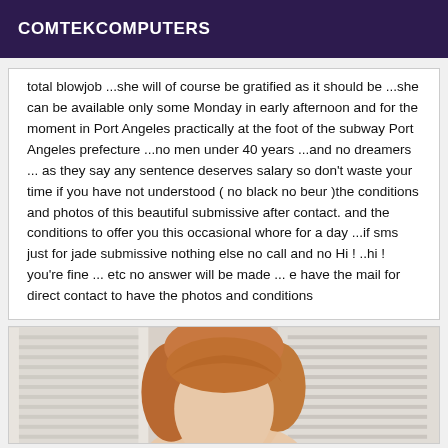COMTEKCOMPUTERS
total blowjob ...she will of course be gratified as it should be ...she can be available only some Monday in early afternoon and for the moment in Port Angeles practically at the foot of the subway Port Angeles prefecture ...no men under 40 years ...and no dreamers ... as they say any sentence deserves salary so don't waste your time if you have not understood ( no black no beur )the conditions and photos of this beautiful submissive after contact. and the conditions to offer you this occasional whore for a day ...if sms just for jade submissive nothing else no call and no Hi ! ..hi ! you're fine ... etc no answer will be made ... e have the mail for direct contact to have the photos and conditions
[Figure (photo): Photo of a person with reddish-blonde hair, partial view showing top of head, taken indoors with window blinds visible in background]